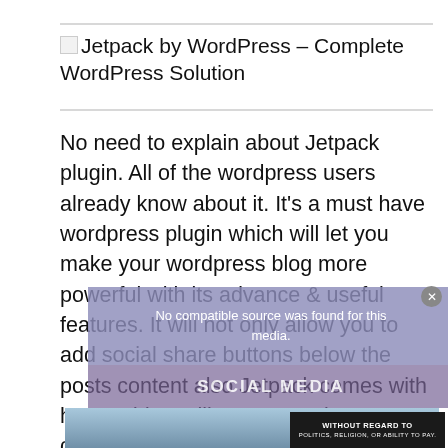Jetpack by WordPress – Complete WordPress Solution
No need to explain about Jetpack plugin. All of the wordpress users already know about it. It's a must have wordpress plugin which will let you make your wordpress blog more powerful with its advance & useful features. It will not only allow you to add social share buttons below the posts content also Jetpack comes with huge add-ons like commenting system, carousel slider, rating system, custom css, site states,
[Figure (screenshot): Video ad overlay showing 'No compatible source was found for this media.' message with close button, social media background, and airplane advertisement banner at bottom]